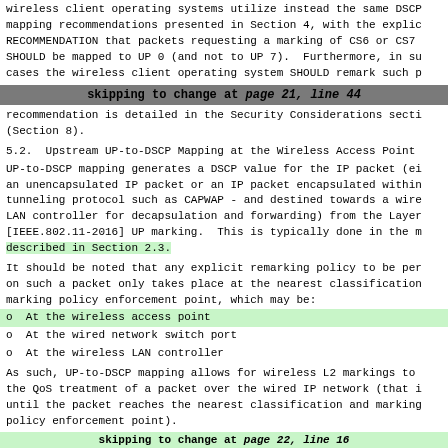wireless client operating systems utilize instead the same DSCP mapping recommendations presented in Section 4, with the explicit RECOMMENDATION that packets requesting a marking of CS6 or CS7 SHOULD be mapped to UP 0 (and not to UP 7). Furthermore, in such cases the wireless client operating system SHOULD remark such p
skipping to change at page 21, line 44
recommendation is detailed in the Security Considerations section (Section 8).
5.2. Upstream UP-to-DSCP Mapping at the Wireless Access Point
UP-to-DSCP mapping generates a DSCP value for the IP packet (either an unencapsulated IP packet or an IP packet encapsulated within a tunneling protocol such as CAPWAP - and destined towards a wireless LAN controller for decapsulation and forwarding) from the Layer 2 [IEEE.802.11-2016] UP marking. This is typically done in the manner described in Section 2.3.
It should be noted that any explicit remarking policy to be performed on such a packet only takes place at the nearest classification and marking policy enforcement point, which may be:
o  At the wireless access point
o  At the wired network switch port
o  At the wireless LAN controller
As such, UP-to-DSCP mapping allows for wireless L2 markings to influence the QoS treatment of a packet over the wired IP network (that is, until the packet reaches the nearest classification and marking policy enforcement point).
It should be further noted that nowhere in the [IEEE.802.11-2016]
skipping to change at page 22, line 16